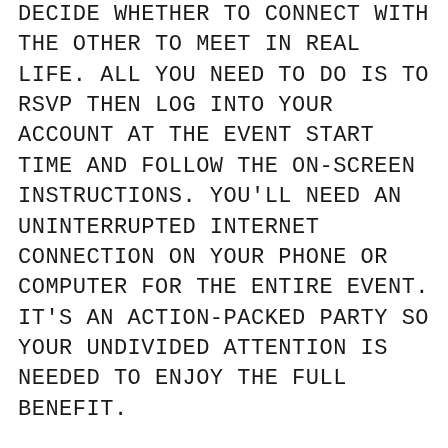DECIDE WHETHER TO CONNECT WITH THE OTHER TO MEET IN REAL LIFE. ALL YOU NEED TO DO IS TO RSVP THEN LOG INTO YOUR ACCOUNT AT THE EVENT START TIME AND FOLLOW THE ON-SCREEN INSTRUCTIONS. YOU'LL NEED AN UNINTERRUPTED INTERNET CONNECTION ON YOUR PHONE OR COMPUTER FOR THE ENTIRE EVENT. IT'S AN ACTION-PACKED PARTY SO YOUR UNDIVIDED ATTENTION IS NEEDED TO ENJOY THE FULL BENEFIT.
JOIN THE PARTY, CUT THROUGH NOISES, GET DOWN TO THE FUNDAMENTALS, SEE THROUGH A REALITY LENS, IDENTIFY YOUR ONE-AND-ONLY FOR LIFE. VERY IMPORTANT: PLEASE BE ON TIME (OR A